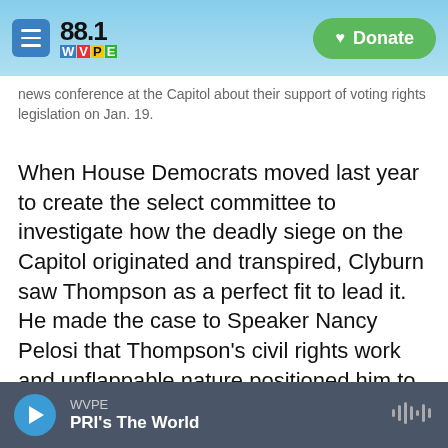88.1 WVPE | Donate
news conference at the Capitol about their support of voting rights legislation on Jan. 19.
When House Democrats moved last year to create the select committee to investigate how the deadly siege on the Capitol originated and transpired, Clyburn saw Thompson as a perfect fit to lead it. He made the case to Speaker Nancy Pelosi that Thompson's civil rights work and unflappable nature positioned him to face off against powerful opponents, including former President Donald Trump and a vast share of the Republican Party.
WVPE | PRI's The World